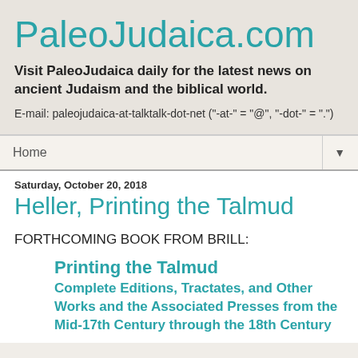PaleoJudaica.com
Visit PaleoJudaica daily for the latest news on ancient Judaism and the biblical world.
E-mail: paleojudaica-at-talktalk-dot-net ("-at-" = "@", "-dot-" = ".")
Home ▼
Saturday, October 20, 2018
Heller, Printing the Talmud
FORTHCOMING BOOK FROM BRILL:
Printing the Talmud
Complete Editions, Tractates, and Other Works and the Associated Presses from the Mid-17th Century through the 18th Century